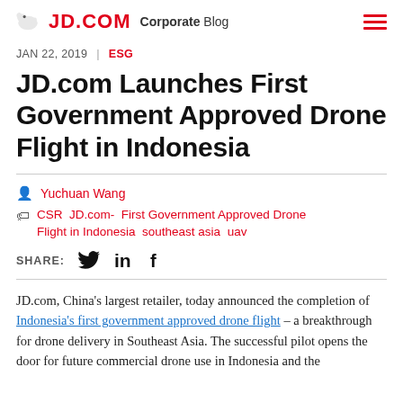JD.COM Corporate Blog
JAN 22, 2019 | ESG
JD.com Launches First Government Approved Drone Flight in Indonesia
Yuchuan Wang
CSR JD.com- First Government Approved Drone Flight in Indonesia southeast asia uav
SHARE:
JD.com, China's largest retailer, today announced the completion of Indonesia's first government approved drone flight – a breakthrough for drone delivery in Southeast Asia. The successful pilot opens the door for future commercial drone use in Indonesia and the